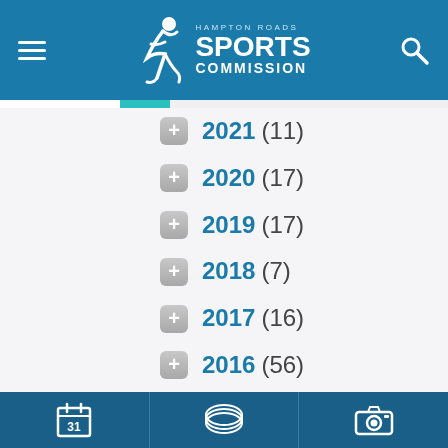Hampton Roads Sports Commission
2021 (11)
2020 (17)
2019 (17)
2018 (7)
2017 (16)
2016 (56)
2015 (22)
2014 (89)
2013 (228)
2012 (146)
2011 (5)
Calendar | Venues | Camera